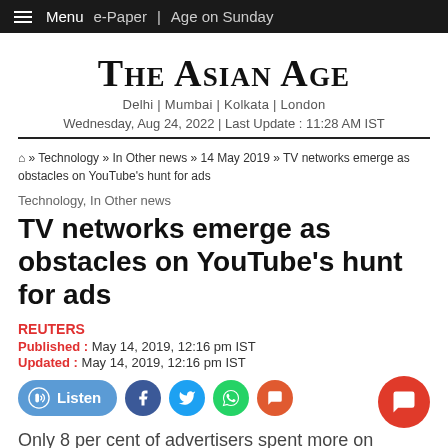Menu  e-Paper | Age on Sunday
The Asian Age
Delhi | Mumbai | Kolkata | London
Wednesday, Aug 24, 2022 | Last Update : 11:28 AM IST
Home » Technology » In Other news » 14 May 2019 » TV networks emerge as obstacles on YouTube's hunt for ads
Technology, In Other news
TV networks emerge as obstacles on YouTube's hunt for ads
REUTERS
Published : May 14, 2019, 12:16 pm IST
Updated : May 14, 2019, 12:16 pm IST
Only 8 per cent of advertisers spent more on YouTube and less on the network proportion